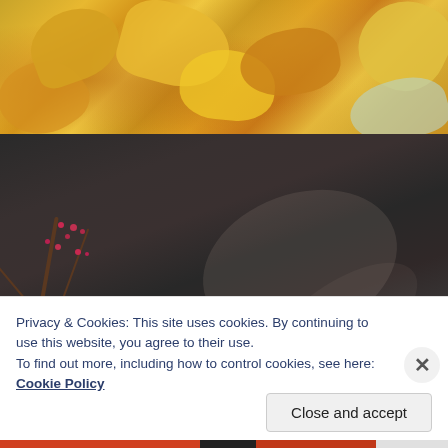[Figure (photo): Blurred close-up photo of autumn leaves in warm yellow, orange, and gold tones against a blurred background]
[Figure (photo): Blurred close-up photo of bare winter branches with red berries against a dark grey blurred background]
Privacy & Cookies: This site uses cookies. By continuing to use this website, you agree to their use.
To find out more, including how to control cookies, see here: Cookie Policy
Close and accept